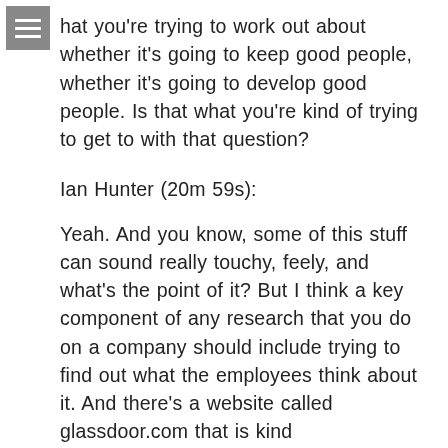hat you're trying to work out about whether it's going to keep good people, whether it's going to develop good people. Is that what you're kind of trying to get to with that question?
Ian Hunter (20m 59s):
Yeah. And you know, some of this stuff can sound really touchy, feely, and what's the point of it? But I think a key component of any research that you do on a company should include trying to find out what the employees think about it. And there's a website called glassdoor.com that is kind